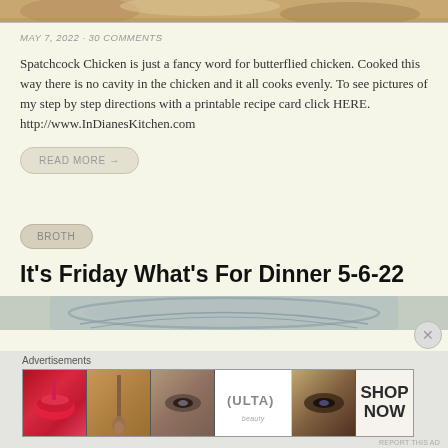[Figure (photo): Top portion of a food photo (spatchcock chicken), cropped at bottom of previous section]
MAY 7, 2022 · 30 COMMENTS
Spatchcock Chicken is just a fancy word for butterflied chicken. Cooked this way there is no cavity in the chicken and it all cooks evenly. To see pictures of my step by step directions with a printable recipe card click HERE. http://www.InDianesKitchen.com
READ MORE →
BROTH
It's Friday What's For Dinner 5-6-22
[Figure (photo): Bottom portion showing edge of a decorative plate, partially visible]
[Figure (other): Advertisement banner for ULTA beauty products with makeup imagery and SHOP NOW text]